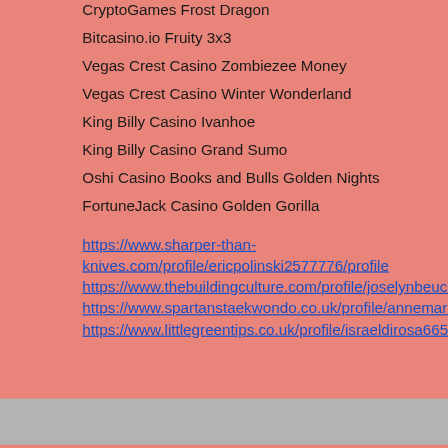CryptoGames Frost Dragon
Bitcasino.io Fruity 3x3
Vegas Crest Casino Zombiezee Money
Vegas Crest Casino Winter Wonderland
King Billy Casino Ivanhoe
King Billy Casino Grand Sumo
Oshi Casino Books and Bulls Golden Nights
FortuneJack Casino Golden Gorilla
https://www.sharper-than-knives.com/profile/ericpolinski2577776/profile https://www.thebuildingculture.com/profile/joselynbeuchat14427995/profile https://www.spartanstaekwondo.co.uk/profile/annemariearbaugh6401051/profile https://www.littlegreentips.co.uk/profile/israeldirosa6654173/profile